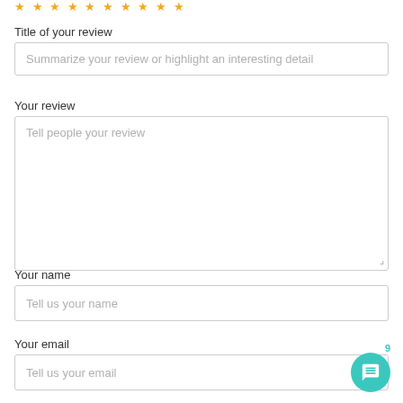[Figure (other): Row of gold star rating icons at the top]
Title of your review
Summarize your review or highlight an interesting detail
Your review
Tell people your review
Your name
Tell us your name
Your email
Tell us your email
[Figure (other): Teal chat bubble icon button with notification badge number 9]